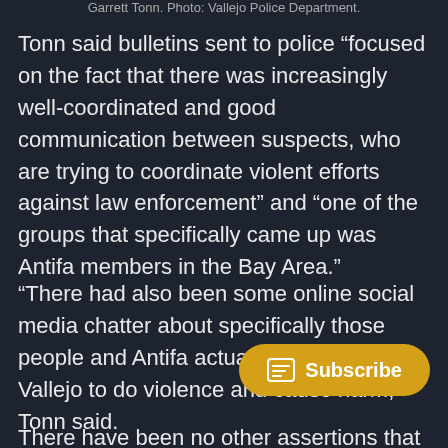Garrett Tonn. Photo: Vallejo Police Department.
Tonn said bulletins sent to police “focused on the fact that there was increasingly well-coordinated and good communication between suspects, who are trying to coordinate violent efforts against law enforcement” and “one of the groups that specifically came up was Antifa members in the Bay Area.”
“There had also been some online social media chatter about specifically those people and Antifa actually, coming into Vallejo to do violence and cause harm,” Tonn said.
There have been no other assertions that actions in